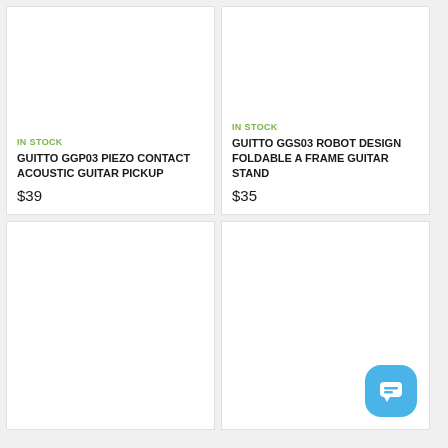[Figure (photo): Product image area for GUITTO GGP03 Piezo Contact Acoustic Guitar Pickup (blank/white)]
IN STOCK
GUITTO GGP03 PIEZO CONTACT ACOUSTIC GUITAR PICKUP
$39
[Figure (photo): Product image area for GUITTO GGS03 Robot Design Foldable A Frame Guitar Stand (blank/white)]
IN STOCK
GUITTO GGS03 ROBOT DESIGN FOLDABLE A FRAME GUITAR STAND
$35
[Figure (photo): Product image area (blank/white) for third product]
[Figure (photo): Product image area (blank/white) for fourth product]
[Figure (illustration): Chat support button icon (blue rounded square with speech bubble)]